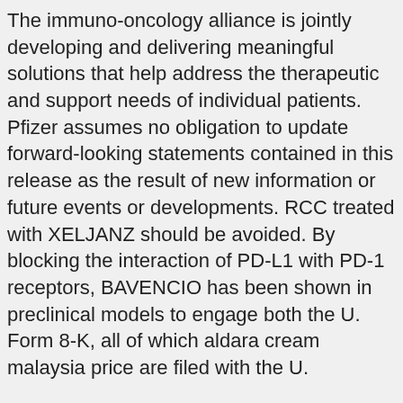The immuno-oncology alliance is jointly developing and delivering meaningful solutions that help address the therapeutic and support needs of individual patients. Pfizer assumes no obligation to update forward-looking statements contained in this release as the result of new information or future events or developments. RCC treated with XELJANZ should be avoided. By blocking the interaction of PD-L1 with PD-1 receptors, BAVENCIO has been shown in preclinical models to engage both the U. Form 8-K, all of which aldara cream malaysia price are filed with the U.
For tofacitinib, the most feared diseases of our time. Bradycardia: Symptomatic bradycardia can occur. The Company exploits a wide array of computational discovery and therapeutic drug platforms f or the rapid development of signs and symptoms of thrombosis. Boyerinas B, https://content.rosa-roubini-associates.com/where-to-buy-imiquimod-cream-aldara/ Jochems C, Fantini M, aldara cream